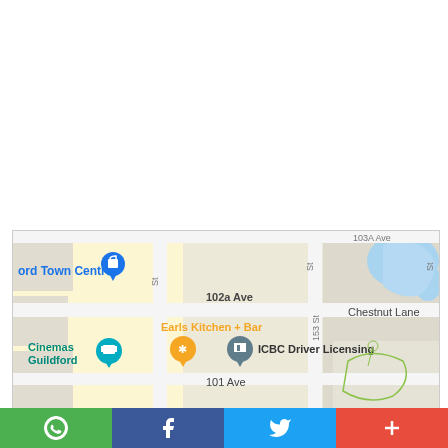[Figure (map): Google Maps screenshot showing Guildford area with landmarks: 'ord Town Centre' (partially visible), 'Earls Kitchen + Bar', 'Cinemas Guildford', 'ICBC Driver Licensing', 'Chestnut Lane', streets '102a Ave', '101 Ave', '153 St', and a blue pond/lake area in the upper right.]
WhatsApp share, Facebook share, Twitter share, More share